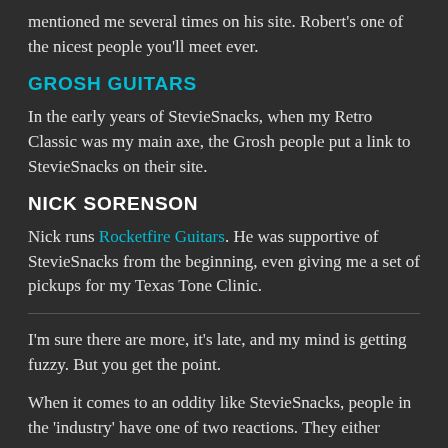mentioned me several times on his site. Robert's one of the nicest people you'll meet ever.
GROSH GUITARS
In the early years of StevieSnacks, when my Retro Classic was my main axe, the Grosh people put a link to StevieSnacks on their site.
NICK SORENSON
Nick runs Rocketfire Guitars. He was supportive of StevieSnacks from the beginning, even giving me a set of pickups for my Texas Tone Clinic.
I'm sure there are more, it's late, and my mind is getting fuzzy. But you get the point.
When it comes to an oddity like StevieSnacks, people in the 'industry' have one of two reactions. They either